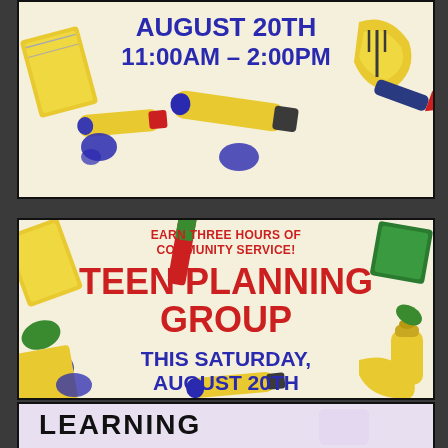[Figure (illustration): Top portion of a flyer with art supplies decorations (notebooks, paint tubes, crayons) on a cream background. Shows date text: AUGUST 20TH 11:00AM – 2:00PM in bold blue lettering.]
[Figure (illustration): Main flyer for Teen Planning Group event. Cream background with art supplies (pencils, crayons, paint tubes, notebooks) decorating the border. Red bold text: EARN THREE HOURS OF COMMUNITY SERVICE! TEEN PLANNING GROUP. Blue bold text: THIS SATURDAY, AUGUST 20TH 11:00AM – 2:00PM.]
[Figure (illustration): Bottom partial strip of another flyer with light purple/lavender background showing partial bold text: LEARNING]